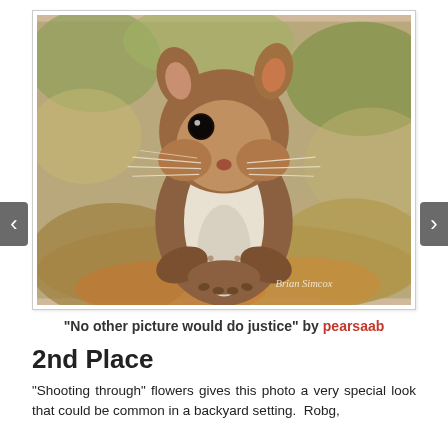[Figure (photo): Close-up photograph of a red squirrel standing upright facing the camera with paws clasped, white chest visible, whiskers prominent, bokeh background of leaves. Watermark reads 'Brian Simcox' in bottom right.]
"No other picture would do justice" by pearsaab
2nd Place
"Shooting through" flowers gives this photo a very special look that could be common in a backyard setting.  Robg,